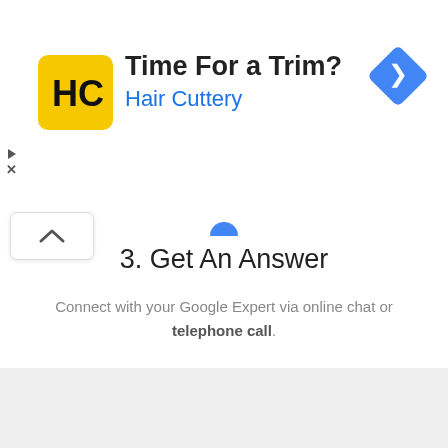[Figure (screenshot): Hair Cuttery advertisement banner with yellow logo showing HC letters, text 'Time For a Trim?' and 'Hair Cuttery' in blue, with a blue diamond navigation arrow on the right, and ad controls (play arrow and X) on the left]
3. Get An Answer
Connect with your Google Expert via online chat or telephone call.
[Figure (screenshot): Green 'Get An Answer >' call-to-action button]